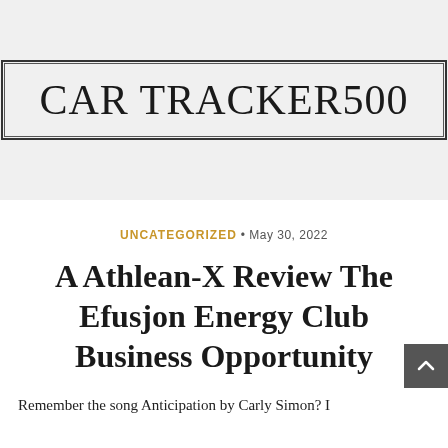CAR TRACKER500
UNCATEGORIZED • May 30, 2022
A Athlean-X Review The Efusjon Energy Club Business Opportunity
Remember the song Anticipation by Carly Simon? I